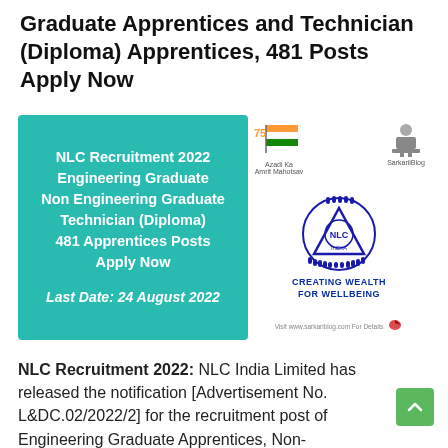Graduate Apprentices and Technician (Diploma) Apprentices, 481 Posts Apply Now
[Figure (infographic): Recruitment banner with teal box listing NLC Recruitment 2022 details and logos including Azadi Ka Amrit Mahotsav, SarkarieBlog, NLC India emblem (Creating Wealth for Wellbeing)]
NLC Recruitment 2022: NLC India Limited has released the notification [Advertisement No. L&DC.02/2022/2] for the recruitment post of Engineering Graduate Apprentices, Non-